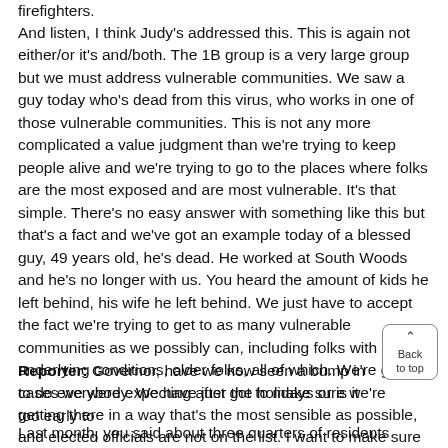firefighters.
And listen, I think Judy's addressed this. This is again not either/or it's and/both. The 1B group is a very large group but we must address vulnerable communities. We saw a guy today who's dead from this virus, who works in one of those vulnerable communities. This is not any more complicated a value judgment than we're trying to keep people alive and we're trying to go to the places where folks are the most exposed and are most vulnerable. It's that simple. There's no easy answer with something like this but that's a fact and we've got an example today of a blessed guy, 49 years old, he's dead. He worked at South Woods and he's no longer with us. You heard the amount of kids he left behind, his wife he left behind. We just have to accept the fact we're trying to get to as many vulnerable communities as we possibly can, including folks with underlying conditions, older folks, all of which. We're going to do everybody. We have just got to make sure we're getting there in a way that's the most sensible as possible, and elected officials are not on the list. I want to make sure that that viewer knows that unequivocally. Thank you, sir.
Reporter: Governor, have we now seen a bump in cases we were expecting after the holidays or is it too early to
Last month, you said about three quarters of residents